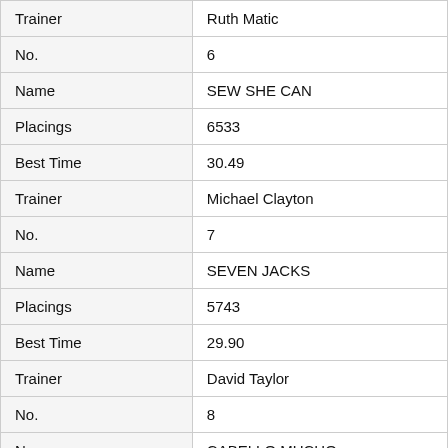| Field | Value |
| --- | --- |
| Trainer | Ruth Matic |
| No. | 6 |
| Name | SEW SHE CAN |
| Placings | 6533 |
| Best Time | 30.49 |
| Trainer | Michael Clayton |
| No. | 7 |
| Name | SEVEN JACKS |
| Placings | 5743 |
| Best Time | 29.90 |
| Trainer | David Taylor |
| No. | 8 |
| Name | CABELLO MUCHO |
| Placings | 2312 |
| Best Time | 30.12 |
| Trainer | Christine Proctor |
| No. | 9 |